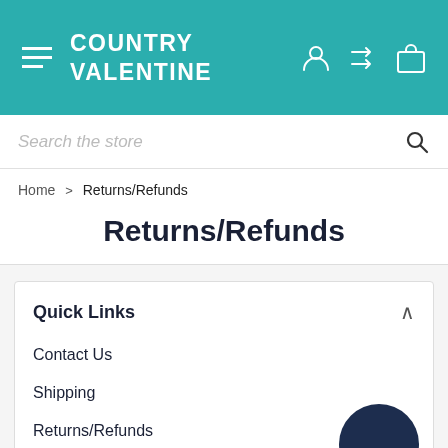COUNTRY VALENTINE
Search the store
Home > Returns/Refunds
Returns/Refunds
Quick Links
Contact Us
Shipping
Returns/Refunds
Privacy Policy